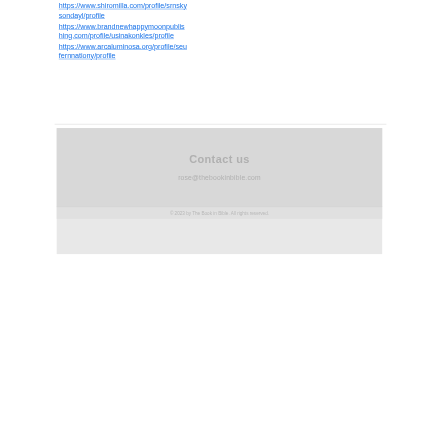https://www.shiromilla.com/profile/srnskysondayl/profile
https://www.brandnewhappymoonpublishing.com/profile/usinakonkles/profile
https://www.arcaluminosa.org/profile/seufernnationy/profile
[Figure (other): Footer section with light gray background containing 'Contact us' heading, email address 'rose@thebookinbible.com', copyright notice '© 2023 by The Book in Bible. All rights reserved.']